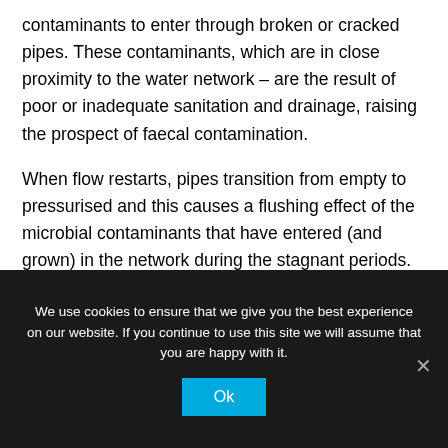contaminants to enter through broken or cracked pipes. These contaminants, which are in close proximity to the water network – are the result of poor or inadequate sanitation and drainage, raising the prospect of faecal contamination.
When flow restarts, pipes transition from empty to pressurised and this causes a flushing effect of the microbial contaminants that have entered (and grown) in the network during the stagnant periods. Indeed, a decrease in water quality at the beginning of supply cycles has been observed in several IWS systems, with higher concentrations of faecal
We use cookies to ensure that we give you the best experience on our website. If you continue to use this site we will assume that you are happy with it.